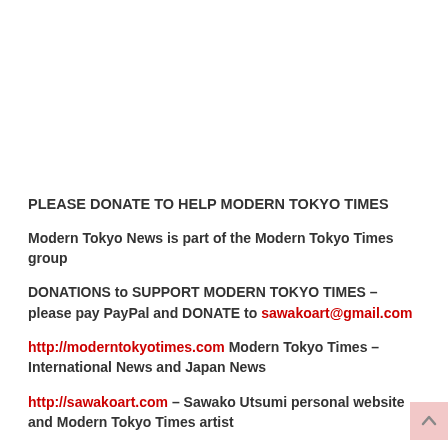PLEASE DONATE TO HELP MODERN TOKYO TIMES
Modern Tokyo News is part of the Modern Tokyo Times group
DONATIONS to SUPPORT MODERN TOKYO TIMES – please pay PayPal and DONATE to sawakoart@gmail.com
http://moderntokyotimes.com Modern Tokyo Times – International News and Japan News
http://sawakoart.com – Sawako Utsumi personal website and Modern Tokyo Times artist
https://moderntokyonews.com Modern Tokyo News – Tokyo News and International News
PLEASE JOIN ON TWITTER